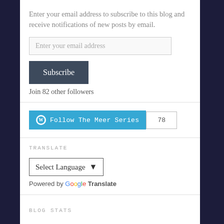Enter your email address to subscribe to this blog and receive notifications of new posts by email.
Enter your email address
Subscribe
Join 82 other followers
[Figure (other): WordPress Follow The Meer Series button with follower count 78]
TRANSLATE
Select Language
Powered by Google Translate
BLOG STATS